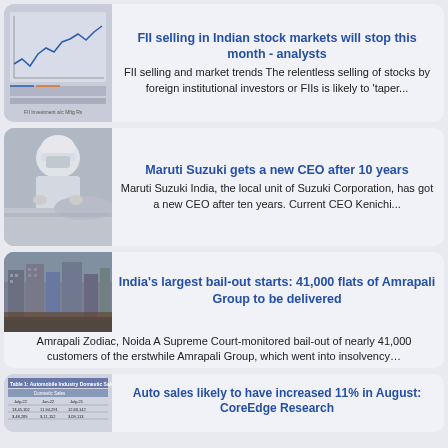[Figure (other): Line chart showing FII investment data in Indian stock markets]
FII selling in Indian stock markets will stop this month - analysts
FII selling and market trends The relentless selling of stocks by foreign institutional investors or FIIs is likely to 'taper...
[Figure (photo): Worker in protective gear working on a car at Maruti Suzuki plant]
Maruti Suzuki gets a new CEO after 10 years
Maruti Suzuki India, the local unit of Suzuki Corporation, has got a new CEO after ten years. Current CEO Kenichi...
[Figure (photo): Aerial view of Amrapali Group construction site with unfinished buildings]
India's largest bail-out starts: 41,000 flats of Amrapali Group to be delivered
Amrapali Zodiac, Noida A Supreme Court-monitored bail-out of nearly 41,000 customers of the erstwhile Amrapali Group, which went into insolvency...
[Figure (table-as-image): Table showing Automobile Industry Domestic Sales data]
Auto sales likely to have increased 11% in August: CoreEdge Research